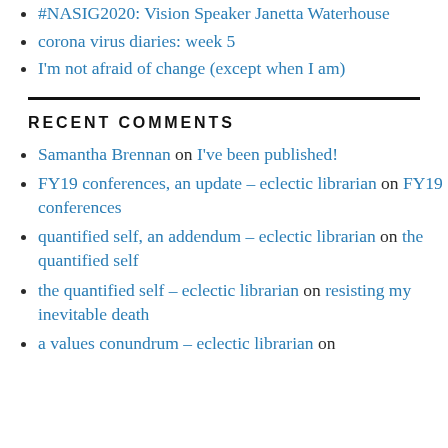#NASIG2020: Vision Speaker Janetta Waterhouse
corona virus diaries: week 5
I'm not afraid of change (except when I am)
RECENT COMMENTS
Samantha Brennan on I've been published!
FY19 conferences, an update – eclectic librarian on FY19 conferences
quantified self, an addendum – eclectic librarian on the quantified self
the quantified self – eclectic librarian on resisting my inevitable death
a values conundrum – eclectic librarian on